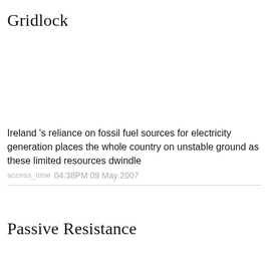Gridlock
Ireland 's reliance on fossil fuel sources for electricity generation places the whole country on unstable ground as these limited resources dwindle
access_time 04:38PM 09 May 2007
Passive Resistance